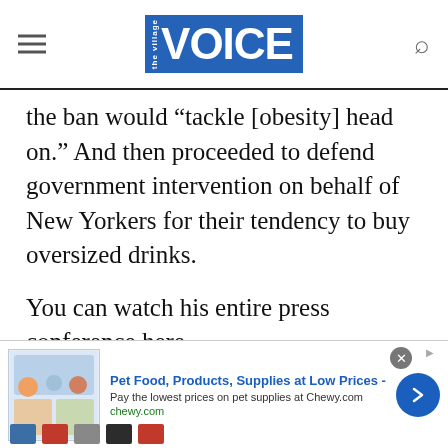the Village VOICE
the ban would “tackle [obesity] head on.” And then proceeded to defend government intervention on behalf of New Yorkers for their tendency to buy oversized drinks.
You can watch his entire press conference here.
To back that up, Health Commissioner Thomas Farley released this statement to reiterate the whole ‘obesity’ thing:
[Figure (screenshot): Advertisement banner for Chewy.com: Pet Food, Products, Supplies at Low Prices - Pay the lowest prices on pet supplies at Chewy.com]